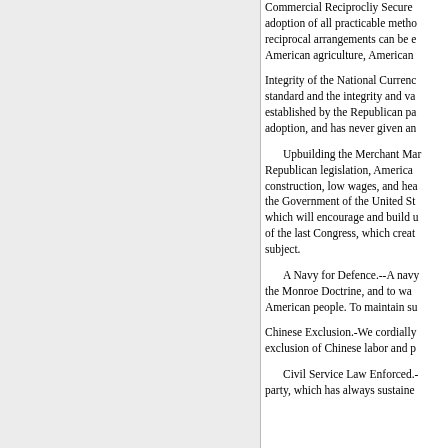Commercial Reciprocliy Secured adoption of all practicable methods reciprocal arrangements can be e American agriculture, American
Integrity of the National Currenc standard and the integrity and va established by the Republican pa adoption, and has never given an
Upbuilding the Merchant Mar Republican legislation, America construction, low wages, and he the Government of the United St which will encourage and build u of the last Congress, which creat subject.
A Navy for Defence.--A navy the Monroe Doctrine, and to wa American people. To maintain su
Chinese Exclusion.-We cordially exclusion of Chinese labor and p
Civil Service Law Enforced.- party, which has always sustaine